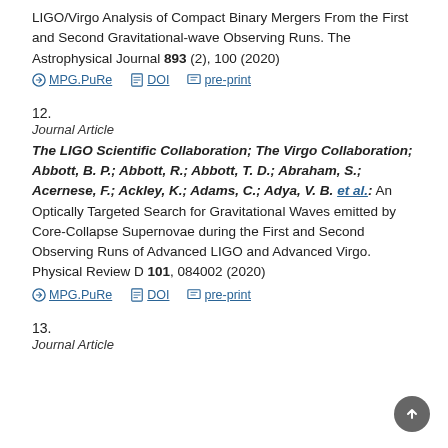LIGO/Virgo Analysis of Compact Binary Mergers From the First and Second Gravitational-wave Observing Runs. The Astrophysical Journal 893 (2), 100 (2020)
MPG.PuRe  DOI  pre-print
12.
Journal Article
The LIGO Scientific Collaboration; The Virgo Collaboration; Abbott, B. P.; Abbott, R.; Abbott, T. D.; Abraham, S.; Acernese, F.; Ackley, K.; Adams, C.; Adya, V. B. et al.: An Optically Targeted Search for Gravitational Waves emitted by Core-Collapse Supernovae during the First and Second Observing Runs of Advanced LIGO and Advanced Virgo. Physical Review D 101, 084002 (2020)
MPG.PuRe  DOI  pre-print
13.
Journal Article